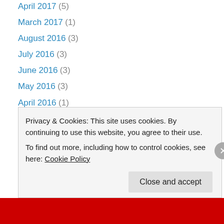April 2017 (5)
March 2017 (1)
August 2016 (3)
July 2016 (3)
June 2016 (3)
May 2016 (3)
April 2016 (1)
March 2016 (1)
January 2016 (1)
December 2015 (1)
November 2015 (2)
October 2015 (1)
September 2015 (2)
Privacy & Cookies: This site uses cookies. By continuing to use this website, you agree to their use.
To find out more, including how to control cookies, see here: Cookie Policy